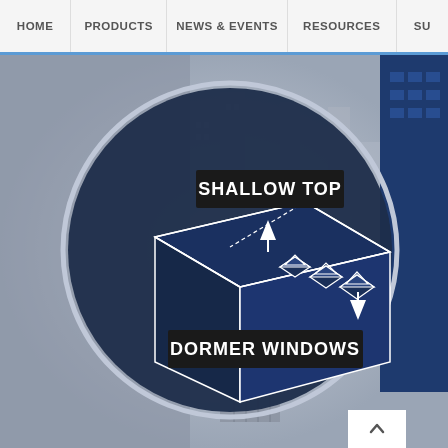HOME | PRODUCTS | NEWS & EVENTS | RESOURCES | SU...
[Figure (infographic): Circular infographic showing a 3D isometric illustration of a building roof with labels: SHALLOW TOP (pointing down with arrow) and DORMER WINDOWS (pointing up with arrow). The roof is dark navy blue with white outline lines showing dormer windows on the slope. Background shows a blurred city streetscape.]